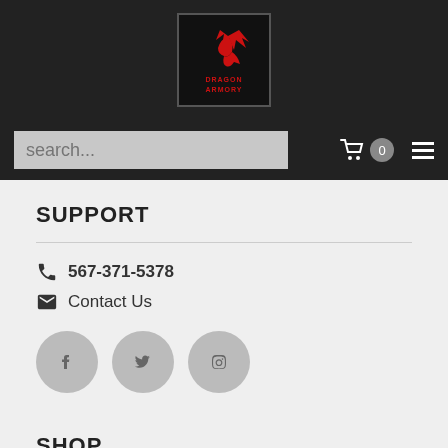[Figure (logo): Dragon Armory logo: red dragon silhouette on dark background with text DRAGON ARMORY]
search...  0
SUPPORT
567-371-5378
Contact Us
[Figure (infographic): Three social media icon circles: Facebook, Twitter, Instagram]
SHOP